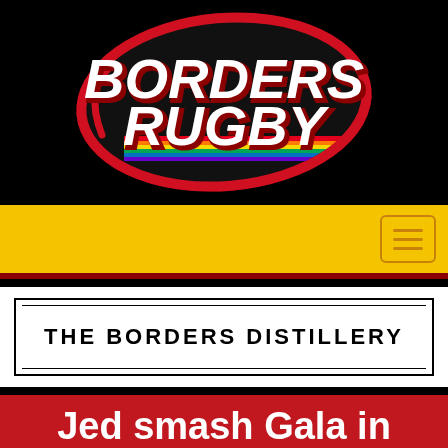[Figure (logo): Borders Rugby logo — oval rugby ball shape with red border on black background, text BORDERS RUGBY in bold white italic with red shadow, rainbow stripe at bottom of oval]
[Figure (logo): The Borders Distillery sponsor logo — black text on white background with double border rectangle, uppercase spaced lettering]
Jed smash Gala in NL1 – Hawick still